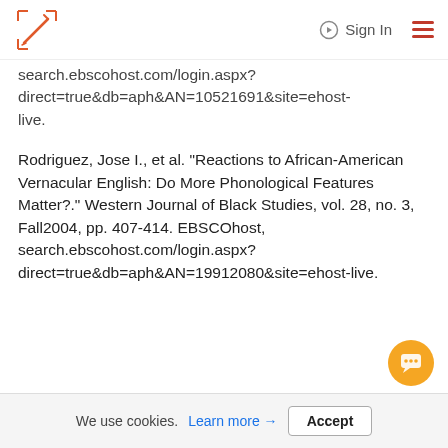Sign In
search.ebscohost.com/login.aspx?direct=true&db=aph&AN=10521691&site=ehost-live.
Rodriguez, Jose I., et al. "Reactions to African-American Vernacular English: Do More Phonological Features Matter?." Western Journal of Black Studies, vol. 28, no. 3, Fall2004, pp. 407-414. EBSCOhost, search.ebscohost.com/login.aspx?direct=true&db=aph&AN=19912080&site=ehost-live.
We use cookies. Learn more → Accept